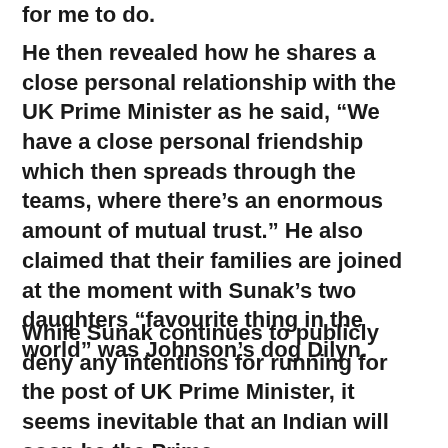He then revealed how he shares a close personal relationship with the UK Prime Minister as he said, “We have a close personal friendship which then spreads through the teams, where there’s an enormous amount of mutual trust.” He also claimed that their families are joined at the moment with Sunak’s two daughters “favourite thing in the world” was Johnson’s dog Dilyn.
While Sunak continues to publicly deny any intentions for running for the post of UK Prime Minister, it seems inevitable that an Indian will soon be the Prime